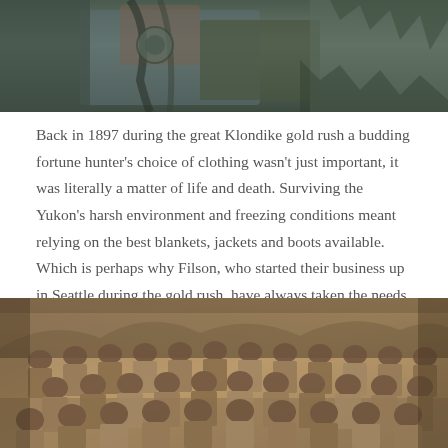[Figure (photo): Partial photo showing a person in outdoor/rugged clothing, partially cropped at top of page]
Back in 1897 during the great Klondike gold rush a budding fortune hunter's choice of clothing wasn't just important, it was literally a matter of life and death. Surviving the Yukon's harsh environment and freezing conditions meant relying on the best blankets, jackets and boots available. Which is perhaps why Filson, who started their business up in Seattle during the gold rush, have always taken the needs of their customers and the quality of their products incredibly seriously.
[Figure (photo): Sepia-toned historical photograph of a large group of men, likely gold rush era workers or miners, posed together outdoors in front of trees]